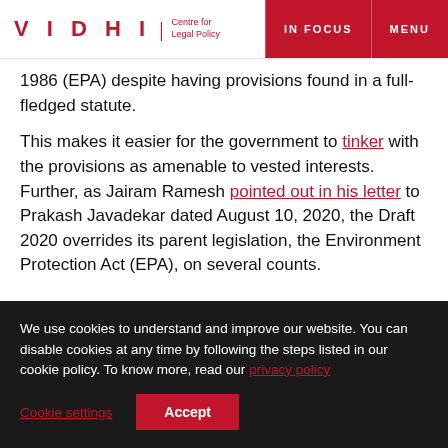VIDHI | Centre for Legal Policy — IN FOCUS | MENU
1986 (EPA) despite having provisions found in a full-fledged statute.
This makes it easier for the government to tinker with the provisions as amenable to vested interests. Further, as Jairam Ramesh pointed out in his letter to Prakash Javadekar dated August 10, 2020, the Draft 2020 overrides its parent legislation, the Environment Protection Act (EPA), on several counts.
We use cookies to understand and improve our website. You can disable cookies at any time by following the steps listed in our cookie policy. To know more, read our privacy policy
Cookie settings | Accept